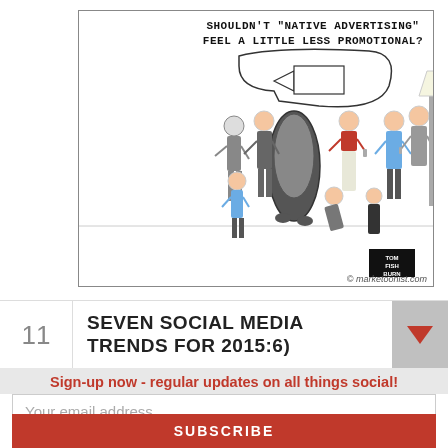[Figure (illustration): Cartoon/comic from marketoonist.com showing a cocktail party scene where a large curved smartphone/ad character mingles among humans. Speech bubble reads: SHOULDN'T "NATIVE ADVERTISING" FEEL A LITTLE LESS PROMOTIONAL? Watermark: © marketoonist.com. Tom Fishburne signature in bottom right corner.]
11  SEVEN SOCIAL MEDIA TRENDS FOR 2015:6)
Sign-up now - regular updates on all things social!
Your email address..
SUBSCRIBE